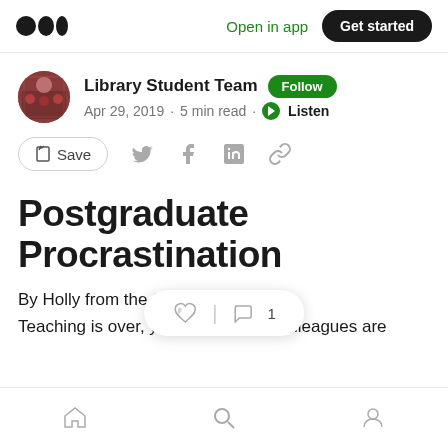Medium | Open in app | Get started
Library Student Team · Follow · Apr 29, 2019 · 5 min read · Listen
Save
Postgraduate Procrastination
By Holly from the Student Team
Teaching is over, your friends and colleagues are
Home | Search | Profile